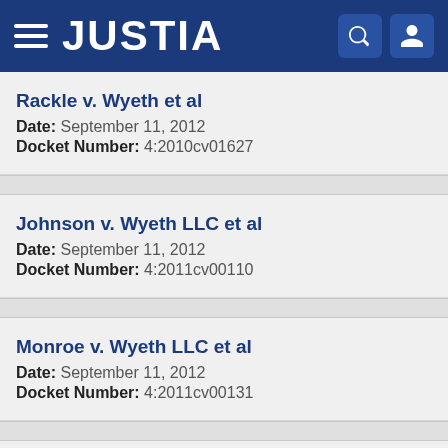JUSTIA
Rackle v. Wyeth et al
Date: September 11, 2012
Docket Number: 4:2010cv01627
Johnson v. Wyeth LLC et al
Date: September 11, 2012
Docket Number: 4:2011cv00110
Monroe v. Wyeth LLC et al
Date: September 11, 2012
Docket Number: 4:2011cv00131
Ford et al v. Wyeth Inc et al
Date: September 11, 2012
Docket Number: 4:2006cv00384